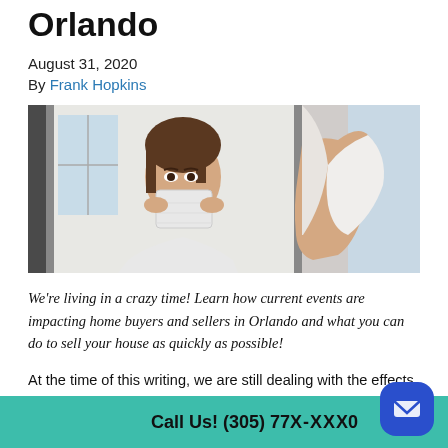Orlando
August 31, 2020
By Frank Hopkins
[Figure (photo): A person putting on a face mask while looking in a bathroom mirror, with a close-up hand view on the right side of the image.]
We're living in a crazy time! Learn how current events are impacting home buyers and sellers in Orlando and what you can do to sell your house as quickly as possible!
At the time of this writing, we are still dealing with the effects of COVID-19. This pandemic has changed how things are done across many industries, but real estate is one that is seeing the greatest impact. While so[me] agents and [buyers]
Call Us! (305) 77[X-XX]X0